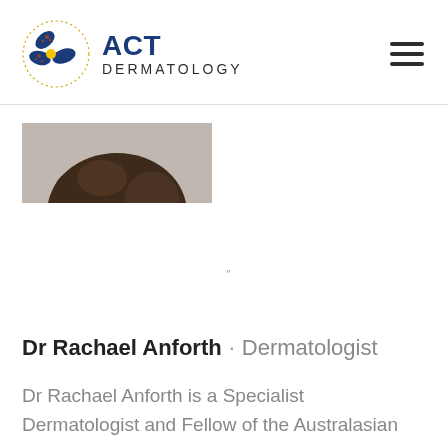[Figure (logo): ACT Dermatology logo with stylized flower/leaf icon in blue and gold, and text 'ACT DERMATOLOGY']
[Figure (photo): Partial photo of Dr Rachael Anforth showing top of head with dark brown hair against a grey background]
Dr Rachael Anforth · Dermatologist
Dr Rachael Anforth is a Specialist Dermatologist and Fellow of the Australasian